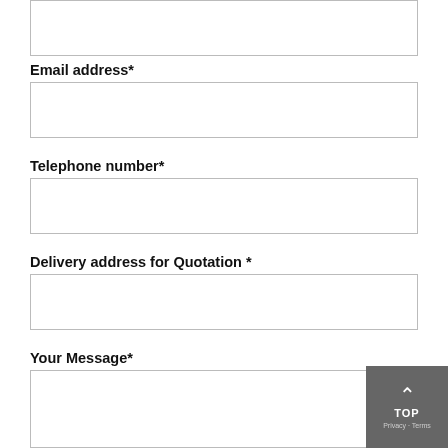[Figure (screenshot): Form input box at top of page (partial, no label visible)]
Email address*
[Figure (screenshot): Email address input field box]
Telephone number*
[Figure (screenshot): Telephone number input field box]
Delivery address for Quotation *
[Figure (screenshot): Delivery address input field box]
Your Message*
[Figure (screenshot): Your Message textarea (partial)]
[Figure (screenshot): TOP button overlay in bottom right corner with arrow up icon and Privacy/Terms text]